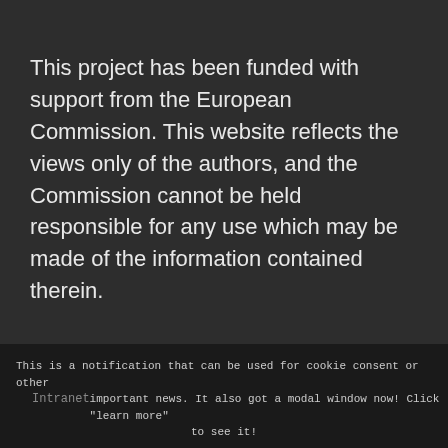This project has been funded with support from the European Commission. This website reflects the views only of the authors, and the Commission cannot be held responsible for any use which may be made of the information contained therein.
[Figure (logo): Erasmus+ Programme co-funded by the European Union logo with EU flag showing blue background with circle of yellow stars]
This is a notification that can be used for cookie consent or other important news. It also got a modal window now! Click "learn more" to see it!